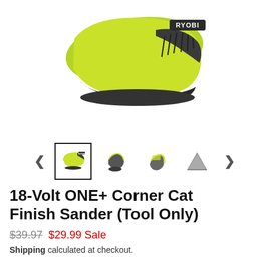[Figure (photo): RYOBI 18-Volt ONE+ Corner Cat Finish Sander product photo on white background, showing the green and black sander from above at an angle, with RYOBI branding visible.]
[Figure (photo): Thumbnail carousel with left arrow, selected thumbnail in bordered box showing the sander from above, three smaller thumbnails (front view, angled view, triangular sanding pad), and right arrow.]
18-Volt ONE+ Corner Cat Finish Sander (Tool Only)
$39.97  $29.99 Sale
Shipping calculated at checkout.